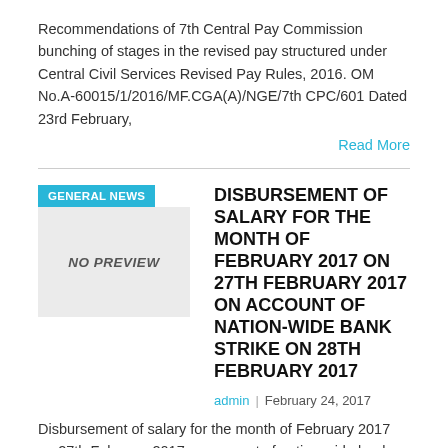Recommendations of 7th Central Pay Commission bunching of stages in the revised pay structured under Central Civil Services Revised Pay Rules, 2016. OM No.A-60015/1/2016/MF.CGA(A)/NGE/7th CPC/601 Dated 23rd February,
Read More
GENERAL NEWS
[Figure (other): No preview placeholder box with italic bold text 'NO PREVIEW']
DISBURSEMENT OF SALARY FOR THE MONTH OF FEBRUARY 2017 ON 27TH FEBRUARY 2017 ON ACCOUNT OF NATION-WIDE BANK STRIKE ON 28TH FEBRUARY 2017
admin | February 24, 2017
Disbursement of salary for the month of February 2017 on 27th February 2017 on account of nation-wide bank strike on 28th